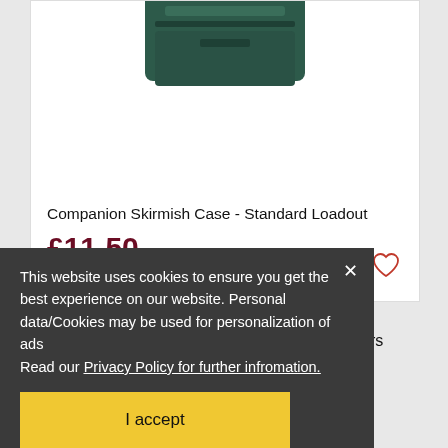[Figure (photo): Dark green Companion Skirmish Case product image, partially cropped at top]
Companion Skirmish Case - Standard Loadout
£11.50
In stock
This website uses cookies to ensure you get the best experience on our website. Personal data/Cookies may be used for personalization of ads
Read our Privacy Policy for further infromation.
I accept
Home
ut
Contact